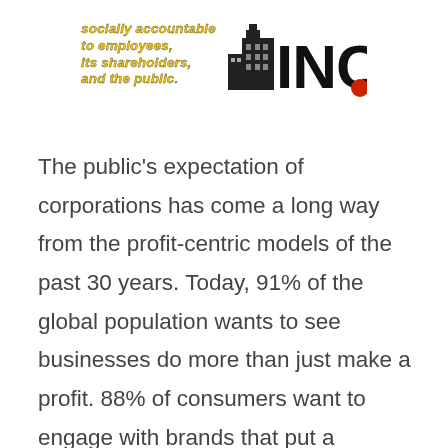[Figure (logo): Header logo for INC. magazine with tagline text 'socially accountable to employees, its shareholders, and the public.' in bold italic yellow/gold text, next to a black and red INC. logo with a building graphic.]
The public's expectation of corporations has come a long way from the profit-centric models of the past 30 years. Today, 91% of the global population wants to see businesses do more than just make a profit. 88% of consumers want to engage with brands that put a premium on Corporate Social Responsibility (CSR). Businesses that learn this lesson have flourished. Businesses that don't have lost market share or even failed. This will continue to be the case if businesses